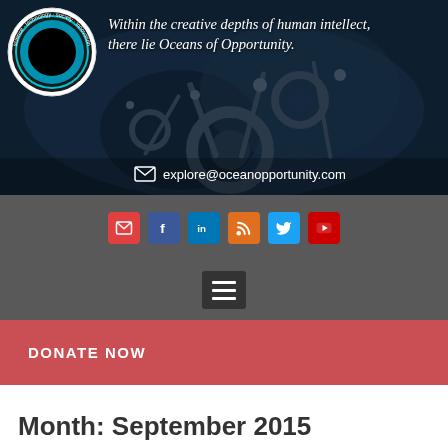[Figure (photo): Hero banner with dark blue mechanical/industrial background, circular logo on left with text 'science technology society innovation', and italic cursive tagline text on right. Email address at bottom.]
[Figure (infographic): Social media icon buttons row: email (red), Facebook (blue), LinkedIn (blue), RSS (orange), Twitter (light blue), YouTube (red) on grey background.]
[Figure (infographic): Navigation hamburger menu button (three horizontal lines) on dark grey background.]
DONATE NOW
Month: September 2015